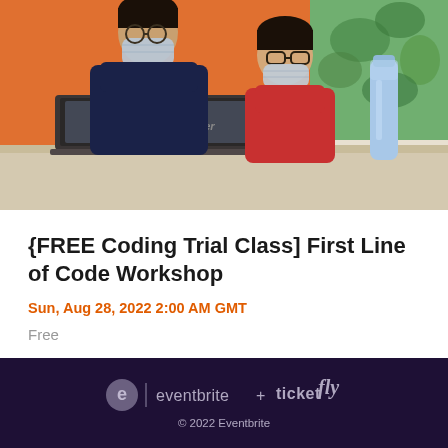[Figure (photo): An adult wearing a surgical mask and dark blue shirt leans over to help a child wearing a red shirt and surgical mask who is working on an Acer laptop. The background shows an orange wall on the left and green foliage visible through a window on the right. A blue water bottle is on the table.]
{FREE Coding Trial Class] First Line of Code Workshop
Sun, Aug 28, 2022 2:00 AM GMT
Free
eventbrite + ticketfly © 2022 Eventbrite